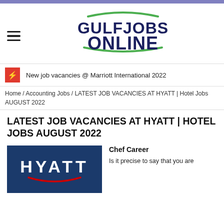[Figure (logo): Gulf Jobs Online logo with navy blue bold text and green decorative lines]
New job vacancies @ Marriott International 2022
Home / Accounting Jobs / LATEST JOB VACANCIES AT HYATT | Hotel Jobs AUGUST 2022
LATEST JOB VACANCIES AT HYATT | HOTEL JOBS AUGUST 2022
[Figure (logo): Hyatt hotel logo — white HYATT text on dark navy blue background with red arc underline]
Chef Career
Is it precise to say that you are